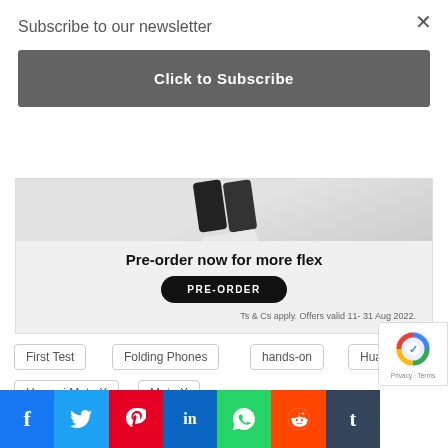×
Subscribe to our newsletter
Click to Subscribe
[Figure (infographic): Samsung foldable phone pre-order advertisement banner with device image, headline 'Pre-order now for more flex', PRE-ORDER button, and Ts & Cs notice.]
First Test
Folding Phones
hands-on
Huawei
Huawei Mate X
Mate X
[Figure (logo): Social share buttons row: Facebook, Twitter, Pinterest, LinkedIn, WhatsApp, Reddit, Tumblr]
[Figure (other): reCAPTCHA badge with Privacy and Terms links]